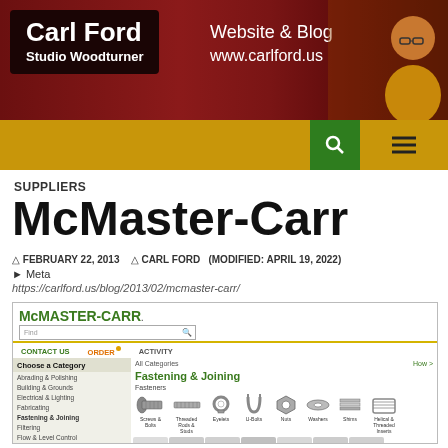[Figure (screenshot): Carl Ford Studio Woodturner website header banner with dark red background, logo text and man photo]
Carl Ford Studio Woodturner — Website & Blog — www.carlford.us
SUPPLIERS
McMaster-Carr
FEBRUARY 22, 2013   CARL FORD   (MODIFIED: APRIL 19, 2022)
▶ Meta
https://carlford.us/blog/2013/02/mcmaster-carr/
[Figure (screenshot): Screenshot of McMaster-Carr website showing their homepage with logo, search bar, navigation links (CONTACT US, ORDER, ACTIVITY), left sidebar with category list (Abrading & Polishing, Building & Grounds, Electrical & Lighting, Fabricating, Fastening & Joining, Filtering, Flow & Level Control, Furniture & Storage, Hand Tools), and main content area showing Fastening & Joining category with Fasteners subcategory and product icons (Screws & Bolts, Threaded Rods & Studs, Eyelets, U-Bolts, Nuts, Washers, Shims, Helical & Threaded Inserts)]